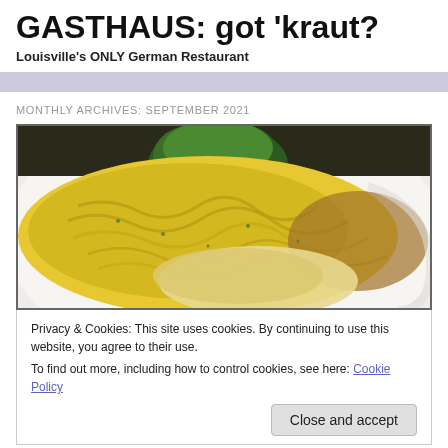GASTHAUS: got 'kraut?
Louisville's ONLY German Restaurant
MONTHLY ARCHIVES: SEPTEMBER 2021
[Figure (photo): Close-up photo of a German dish on a white plate — golden egg noodles (Spätzle) piled high with melted cheese, topped with broccoli and red pepper garnish, alongside a piece of cooked meat with gravy.]
Privacy & Cookies: This site uses cookies. By continuing to use this website, you agree to their use.
To find out more, including how to control cookies, see here: Cookie Policy
Close and accept
FEATURED